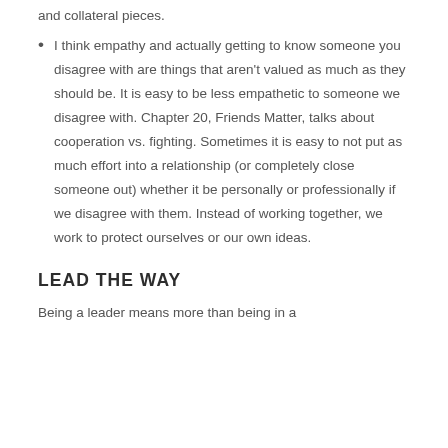and collateral pieces.
I think empathy and actually getting to know someone you disagree with are things that aren't valued as much as they should be. It is easy to be less empathetic to someone we disagree with. Chapter 20, Friends Matter, talks about cooperation vs. fighting. Sometimes it is easy to not put as much effort into a relationship (or completely close someone out) whether it be personally or professionally if we disagree with them. Instead of working together, we work to protect ourselves or our own ideas.
LEAD THE WAY
Being a leader means more than being in a